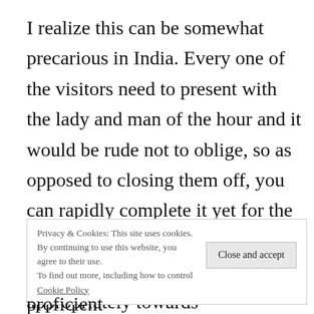I realize this can be somewhat precarious in India. Every one of the visitors need to present with the lady and man of the hour and it would be rude not to oblige, so as opposed to closing them off, you can rapidly complete it yet for the nearby family and companions, its great to have them done appropriately towards
Privacy & Cookies: This site uses cookies. By continuing to use this website, you agree to their use. To find out more, including how to control Cookie Policy
proficient